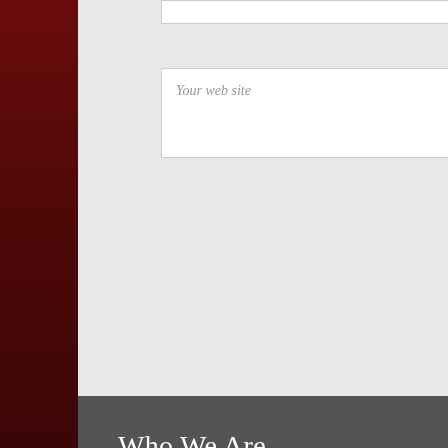Your web site
[Figure (screenshot): Partial view of a law firm website for Garteiser Honea. Top portion shows a web form with a 'Your web site' input field. Below is a dark grey section with 'Who We Are' heading and body text describing the firm as a litigation boutique. Right side shows partial logo 'GAR' in red and 'Recent N...' section with news items including Decapolis Cla..., Athenahealth..., Garteiser Ho..., PNC Bank's F..., Dismiss again..., Judge Sees H...]
Who We Are
Garteiser Honea is a litigation boutique dedicated to winning high-stakes trials and appeals in courts across the country. We handle complex intellectual-property and business disputes as lead counsel. And given our experience and familiarity with federal and state courts in East Texas and Northern California, we often entertain requests to serve as local counsel here. Our attorneys come from top-ranked law schools and from prestigious judicial clerkships for federal judges.
Recent N
Decapolis Cla
Athenahealth
Garteiser Ho
PNC Bank's F
Dismiss again
Judge Sees H